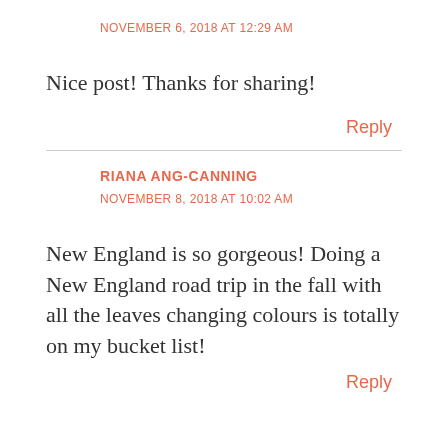NOVEMBER 6, 2018 AT 12:29 AM
Nice post! Thanks for sharing!
Reply
RIANA ANG-CANNING
NOVEMBER 8, 2018 AT 10:02 AM
New England is so gorgeous! Doing a New England road trip in the fall with all the leaves changing colours is totally on my bucket list!
Reply